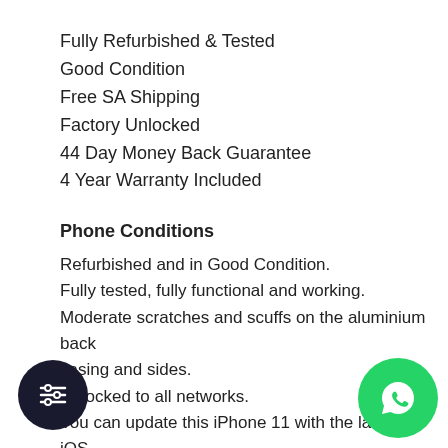Fully Refurbished & Tested
Good Condition
Free SA Shipping
Factory Unlocked
44 Day Money Back Guarantee
4 Year Warranty Included
Phone Conditions
Refurbished and in Good Condition.
Fully tested, fully functional and working.
Moderate scratches and scuffs on the aluminium back casing and sides.
Unlocked to all networks.
You can update this iPhone 11 with the latest iOS operating system or any future operating system available for this model.